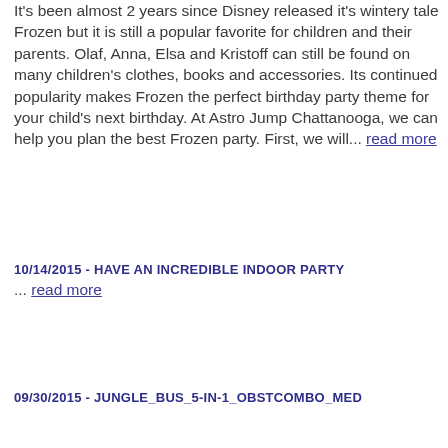It's been almost 2 years since Disney released it's wintery tale Frozen but it is still a popular favorite for children and their parents. Olaf, Anna, Elsa and Kristoff can still be found on many children's clothes, books and accessories. Its continued popularity makes Frozen the perfect birthday party theme for your child's next birthday. At Astro Jump Chattanooga, we can help you plan the best Frozen party. First, we will... read more
10/14/2015 - HAVE AN INCREDIBLE INDOOR PARTY
... read more
09/30/2015 - JUNGLE_BUS_5-IN-1_OBSTCOMBO_MED